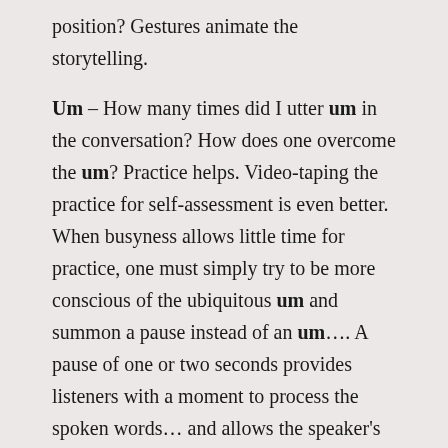position? Gestures animate the storytelling.
Um – How many times did I utter um in the conversation? How does one overcome the um? Practice helps. Video-taping the practice for self-assessment is even better. When busyness allows little time for practice, one must simply try to be more conscious of the ubiquitous um and summon a pause instead of an um…. A pause of one or two seconds provides listeners with a moment to process the spoken words… and allows the speaker's message to penetrate minds more deeply.
Um, which sounds like hum, is certainly better than uh, which sounds like duh. It is also better then er, which sounds like a mistake. Strong public speakers work hard